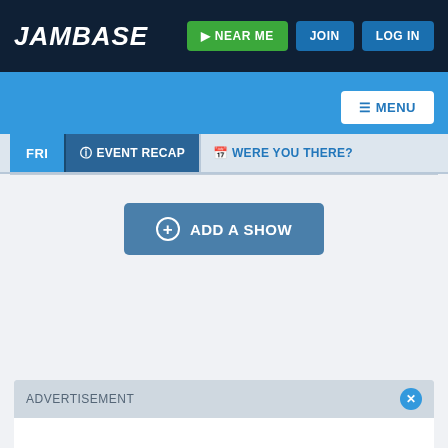JamBase
NEAR ME
JOIN
LOG IN
MENU
FRI
EVENT RECAP
WERE YOU THERE?
ADD A SHOW
ADVERTISEMENT